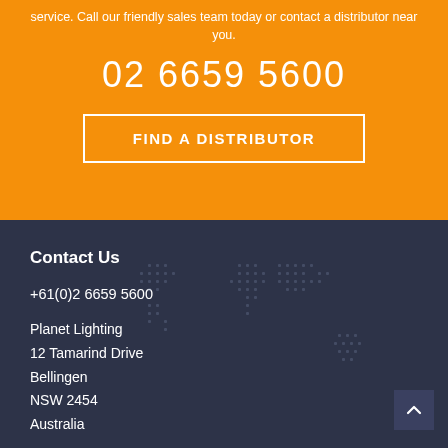service. Call our friendly sales team today or contact a distributor near you.
02 6659 5600
FIND A DISTRIBUTOR
Contact Us
+61(0)2 6659 5600
Planet Lighting
12 Tamarind Drive
Bellingen
NSW 2454
Australia